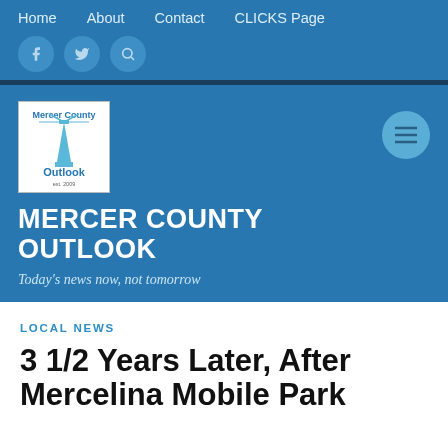Home   About   Contact   CLICKS Page
[Figure (logo): Mercer County Outlook logo with lighthouse graphic and text 'est. 2009']
MERCER COUNTY OUTLOOK
Today's news now, not tomorrow
LOCAL NEWS
3 1/2 Years Later, After Mercelina Mobile Park